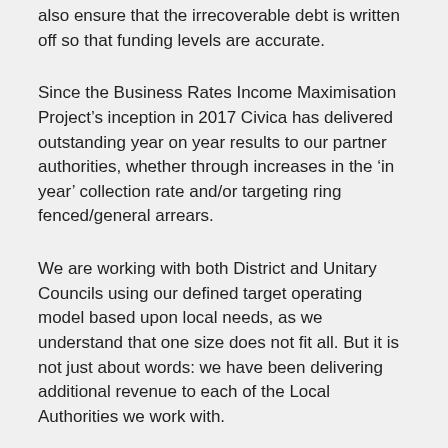also ensure that the irrecoverable debt is written off so that funding levels are accurate.
Since the Business Rates Income Maximisation Project’s inception in 2017 Civica has delivered outstanding year on year results to our partner authorities, whether through increases in the ‘in year’ collection rate and/or targeting ring fenced/general arrears.
We are working with both District and Unitary Councils using our defined target operating model based upon local needs, as we understand that one size does not fit all. But it is not just about words: we have been delivering additional revenue to each of the Local Authorities we work with.
A couple of highlights from some of our key customers are set out below: